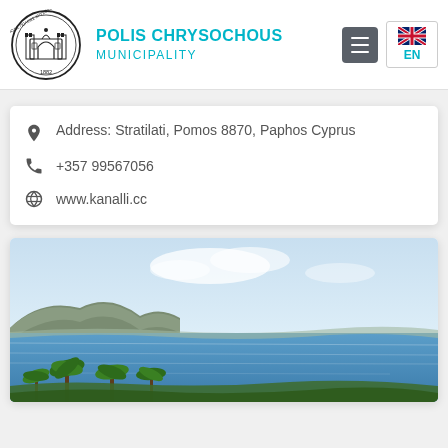[Figure (logo): Polis Chrysochous Municipality circular seal logo with building illustration and text '1882']
POLIS CHRYSOCHOUS MUNICIPALITY
Address: Stratilati, Pomos 8870, Paphos Cyprus
+357 99567056
www.kanalli.cc
[Figure (photo): Coastal Mediterranean landscape showing blue sea, rocky hillside, palm trees in foreground, and cloudy sky]